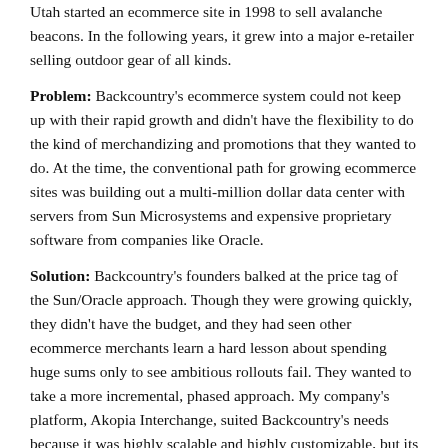Utah started an ecommerce site in 1998 to sell avalanche beacons. In the following years, it grew into a major e-retailer selling outdoor gear of all kinds.
Problem: Backcountry's ecommerce system could not keep up with their rapid growth and didn't have the flexibility to do the kind of merchandizing and promotions that they wanted to do. At the time, the conventional path for growing ecommerce sites was building out a multi-million dollar data center with servers from Sun Microsystems and expensive proprietary software from companies like Oracle.
Solution: Backcountry's founders balked at the price tag of the Sun/Oracle approach. Though they were growing quickly, they didn't have the budget, and they had seen other ecommerce merchants learn a hard lesson about spending huge sums only to see ambitious rollouts fail. They wanted to take a more incremental, phased approach. My company's platform, Akopia Interchange, suited Backcountry's needs because it was highly scalable and highly customizable, but its licensing allowed it to